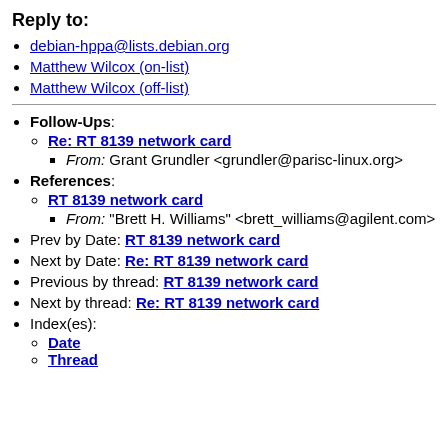Reply to:
debian-hppa@lists.debian.org
Matthew Wilcox (on-list)
Matthew Wilcox (off-list)
Follow-Ups: Re: RT 8139 network card — From: Grant Grundler <grundler@parisc-linux.org>
References: RT 8139 network card — From: "Brett H. Williams" <brett_williams@agilent.com>
Prev by Date: RT 8139 network card
Next by Date: Re: RT 8139 network card
Previous by thread: RT 8139 network card
Next by thread: Re: RT 8139 network card
Index(es): Date, Thread